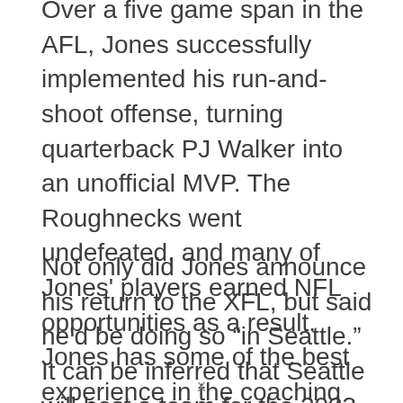Over a five game span in the AFL, Jones successfully implemented his run-and-shoot offense, turning quarterback PJ Walker into an unofficial MVP. The Roughnecks went undefeated, and many of Jones' players earned NFL opportunities as a result. Jones has some of the best experience in the coaching business going back to the 1980s, and has worked in many leagues throughout his tenure.
Not only did Jones announce his return to the XFL, but said he'd be doing so “in Seattle.” It can be inferred that Seattle will host a team for the 2023 season, although whether or not the Dragons name will be retained is currently unknown. This is one of the first mentions of a
x